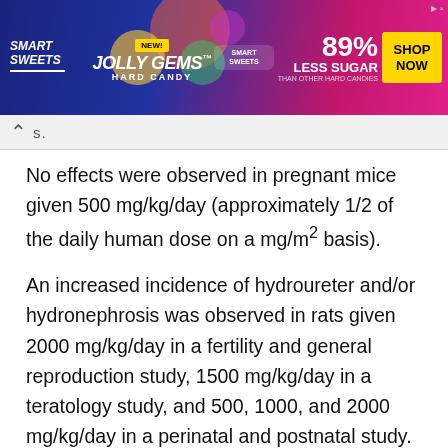[Figure (other): Advertisement banner for Smart Sweets Jolly Gems Hard Candy — 89% Less Sugar than other hard candies — Shop Now button]
No effects were observed in pregnant mice given 500 mg/kg/day (approximately 1/2 of the daily human dose on a mg/m² basis).
An increased incidence of hydroureter and/or hydronephrosis was observed in rats given 2000 mg/kg/day in a fertility and general reproduction study, 1500 mg/kg/day in a teratology study, and 500, 1000, and 2000 mg/kg/day in a perinatal and postnatal study. The significance of these findings is unknown, but they have been associated with delayed development. These doses are also approximately 1 to 5 times the human dose of 3600 mg on a mg/m² basis.